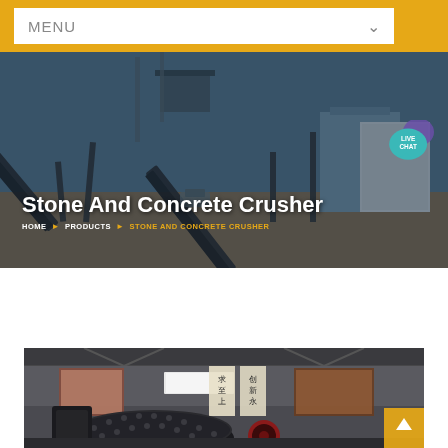MENU
Stone And Concrete Crusher
HOME › PRODUCTS › STONE AND CONCRETE CRUSHER
[Figure (photo): Industrial stone crusher/conveyor facility outdoor scene with multiple conveyor belts and equipment under a clear sky]
[Figure (photo): Indoor factory scene showing large industrial ball mill or crusher equipment with Chinese text banners and industrial machinery]